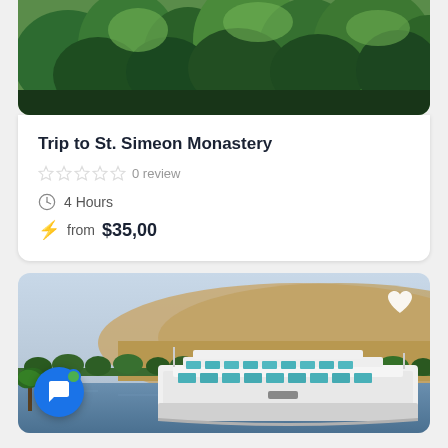[Figure (photo): Top portion of a photo showing lush green trees/vegetation at a monastery or nature site]
Trip to St. Simeon Monastery
0 review
4 Hours
from $35,00
[Figure (photo): Photo of the Nile River with a large cruise/ferry boat, sandy hills in the background, trees along the bank, and a heart icon in the top right. A blue chat button with green dot is overlaid in the bottom left.]